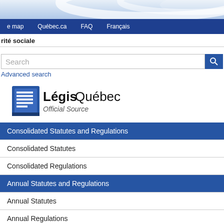[Figure (illustration): Top banner with curved blue/white decorative graphic]
e map   Québec.ca   FAQ   Français
rité sociale
Search
Advanced search
[Figure (logo): LégisQuébec Official Source logo]
Consolidated Statutes and Regulations
Consolidated Statutes
Consolidated Regulations
Annual Statutes and Regulations
Annual Statutes
Annual Regulations
Additional information
Québec Official Publisher